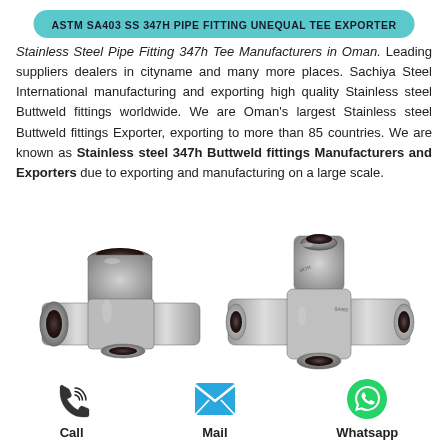ASTM SA403 SS 347H PIPE FITTING UNEQUAL TEE EXPORTER
Stainless Steel Pipe Fitting 347h Tee Manufacturers in Oman. Leading suppliers dealers in cityname and many more places. Sachiya Steel International manufacturing and exporting high quality Stainless steel Buttweld fittings worldwide. We are Oman's largest Stainless steel Buttweld fittings Exporter, exporting to more than 85 countries. We are known as Stainless steel 347h Buttweld fittings Manufacturers and Exporters due to exporting and manufacturing on a large scale.
[Figure (photo): Two stainless steel pipe fitting unequal tee components shown side by side on white/light background]
[Figure (infographic): Three contact icons: phone (Call), envelope (Mail), WhatsApp logo (Whatsapp)]